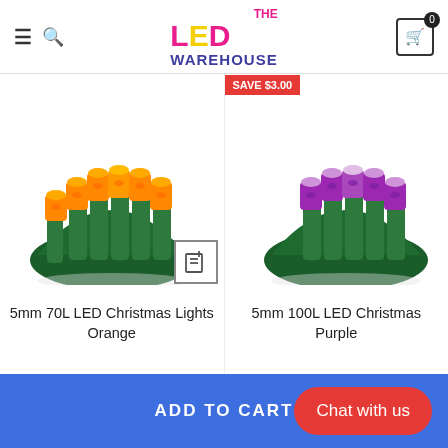The LED Warehouse
[Figure (photo): 5mm 70L LED Christmas Lights Orange - orange LED string lights on green wire base, fanned out]
5mm 70L LED Christmas Lights Orange
[Figure (photo): 5mm 100L LED Christmas Lights Purple - purple LED string lights on green wire base, fanned out, with SAVE $3.00 badge]
5mm 100L LED Christmas Lights Purple
ADD TO CART
Chat with us